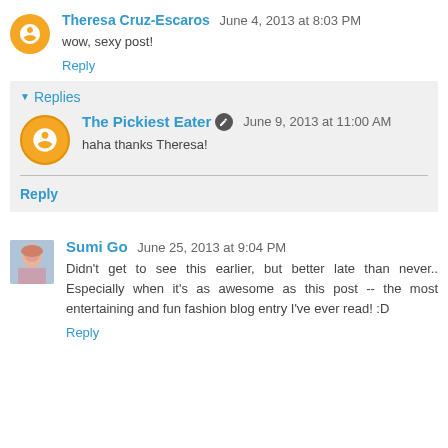Theresa Cruz-Escaros June 4, 2013 at 8:03 PM
wow, sexy post!
Reply
Replies
The Pickiest Eater June 9, 2013 at 11:00 AM
haha thanks Theresa!
Reply
Sumi Go June 25, 2013 at 9:04 PM
Didn't get to see this earlier, but better late than never.. Especially when it's as awesome as this post -- the most entertaining and fun fashion blog entry I've ever read! :D
Reply